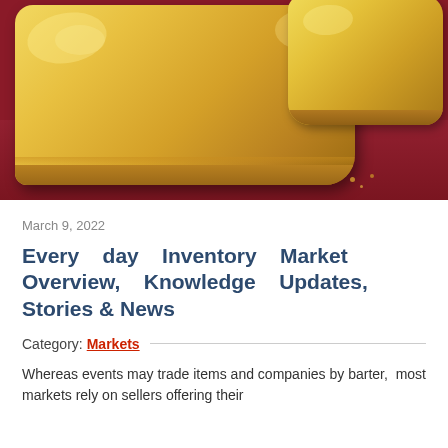[Figure (photo): Close-up photo of golden-brown baked goods (shortbread or cornbread squares) on a dark red/crimson surface or cloth]
March 9, 2022
Every day Inventory Market Overview, Knowledge Updates, Stories & News
Category: Markets
Whereas events may trade items and companies by barter, most markets rely on sellers offering their